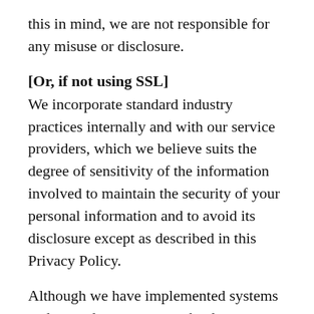this in mind, we are not responsible for any misuse or disclosure.
[Or, if not using SSL]
We incorporate standard industry practices internally and with our service providers, which we believe suits the degree of sensitivity of the information involved to maintain the security of your personal information and to avoid its disclosure except as described in this Privacy Policy.
Although we have implemented systems and procedures to secure the data maintained by us, security during Internet transmissions can never be assured. Our policy is to limit access to personal data to those employees or agents